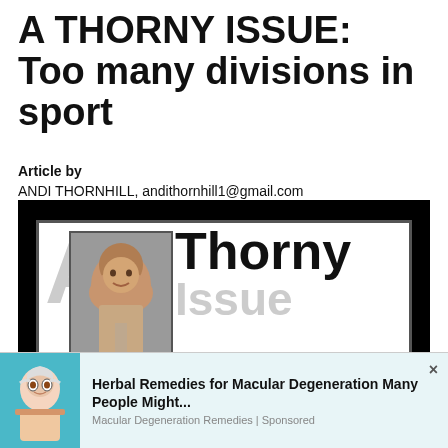A THORNY ISSUE: Too many divisions in sport
Article by
ANDI THORNHILL, andithornhill1@gmail.com
[Figure (photo): Magazine cover or article header image showing 'A Thorny Issue' branding with a photo of Andi Thornhill (smiling man) and large typographic title text on black and white background.]
[Figure (infographic): Advertisement banner: 'Herbal Remedies for Macular Degeneration Many People Might...' from Macular Degeneration Remedies | Sponsored, with illustrated elderly woman with glasses icon on teal background.]